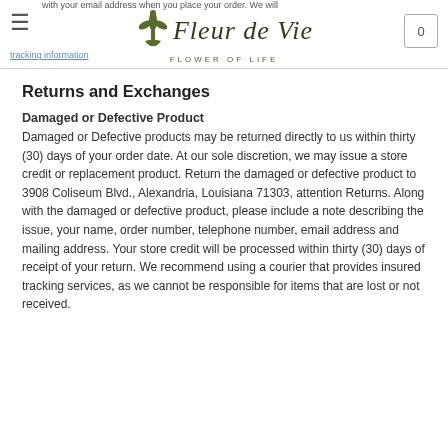Fleur de Vie — FLOWER OF LIFE
with your email address when you place your order. We will send you an email confirmation with the tracking information.
Returns and Exchanges
Damaged or Defective Product
Damaged or Defective products may be returned directly to us within thirty (30) days of your order date. At our sole discretion, we may issue a store credit or replacement product. Return the damaged or defective product to 3908 Coliseum Blvd., Alexandria, Louisiana 71303, attention Returns. Along with the damaged or defective product, please include a note describing the issue, your name, order number, telephone number, email address and mailing address. Your store credit will be processed within thirty (30) days of receipt of your return. We recommend using a courier that provides insured tracking services, as we cannot be responsible for items that are lost or not received.